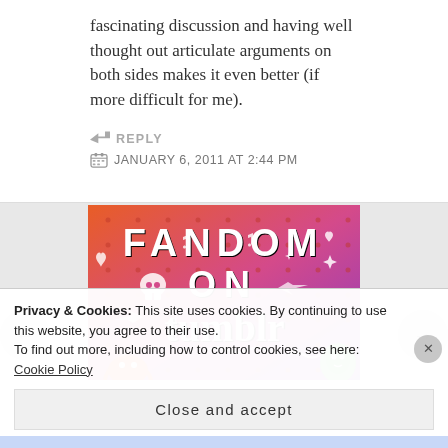fascinating discussion and having well thought out articulate arguments on both sides makes it even better (if more difficult for me).
↪ REPLY
JANUARY 6, 2011 AT 2:44 PM
[Figure (illustration): Colorful orange-to-purple gradient banner image with white illustrated doodles (skull, hearts, arrows, sparkles, stars, octopus, leaf character) and bold text reading 'FANDOM ON tumblr']
Privacy & Cookies: This site uses cookies. By continuing to use this website, you agree to their use.
To find out more, including how to control cookies, see here: Cookie Policy
Close and accept